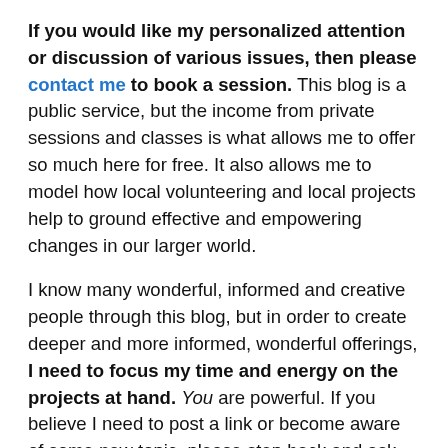If you would like my personalized attention or discussion of various issues, then please contact me to book a session. This blog is a public service, but the income from private sessions and classes is what allows me to offer so much here for free. It also allows me to model how local volunteering and local projects help to ground effective and empowering changes in our larger world.
I know many wonderful, informed and creative people through this blog, but in order to create deeper and more informed, wonderful offerings, I need to focus my time and energy on the projects at hand. You are powerful. If you believe I need to post a link or become aware of some new topic, please step back and ask yourself what you feel called to do with that information. Please let your growing awareness of our crazy world inform and